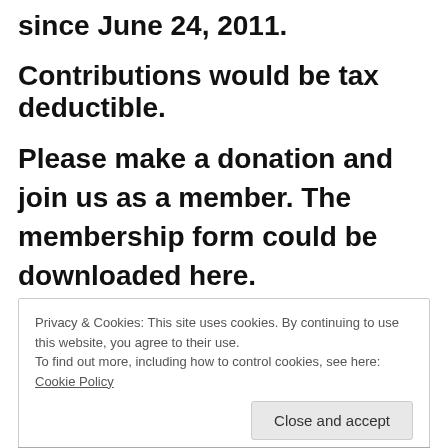since June 24, 2011.
Contributions would be tax deductible.
Please make a donation and join us as a member. The membership form could be downloaded here.
Privacy & Cookies: This site uses cookies. By continuing to use this website, you agree to their use.
To find out more, including how to control cookies, see here: Cookie Policy
Close and accept